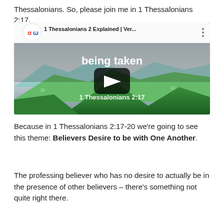Thessalonians. So, please join me in 1 Thessalonians 2:17.
[Figure (screenshot): YouTube video thumbnail showing 'being taken / 1 Thessalonians 2:17' with mountain landscape background and play button. Title bar shows 'αω 1 Thessalonians 2 Explained | Ver...']
Because in 1 Thessalonians 2:17-20 we're going to see this theme: Believers Desire to be with One Another.
The professing believer who has no desire to actually be in the presence of other believers – there's something not quite right there.